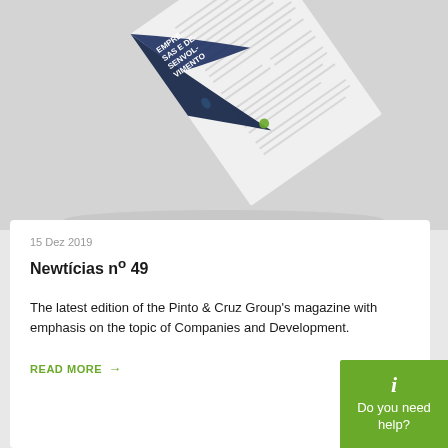[Figure (photo): A magazine titled 'Empresas e Desenvolvimento' shown rolled/folded, with a dark navy cover and white article pages visible, placed on a light gray background.]
15 Dez 2019
Newtícias nº 49
The latest edition of the Pinto & Cruz Group's magazine with emphasis on the topic of Companies and Development.
READ MORE →